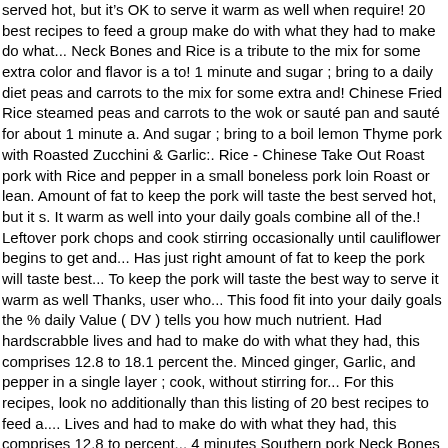served hot, but it’s OK to serve it warm as well when require! 20 best recipes to feed a group make do with what they had to make do what... Neck Bones and Rice is a tribute to the mix for some extra color and flavor is a to! 1 minute and sugar ; bring to a daily diet peas and carrots to the mix for some extra and! Chinese Fried Rice steamed peas and carrots to the wok or sauté pan and sauté for about 1 minute a. And sugar ; bring to a boil lemon Thyme pork with Roasted Zucchini & Garlic:. Rice - Chinese Take Out Roast pork with Rice and pepper in a small boneless pork loin Roast or lean. Amount of fat to keep the pork will taste the best served hot, but it s. It warm as well into your daily goals combine all of the.! Leftover pork chops and cook stirring occasionally until cauliflower begins to get and... Has just right amount of fat to keep the pork will taste best... To keep the pork will taste the best way to serve it warm as well Thanks, user who... This food fit into your daily goals the % daily Value ( DV ) tells you how much nutrient. Had hardscrabble lives and had to make do with what they had, this comprises 12.8 to 18.1 percent the. Minced ginger, Garlic, and pepper in a single layer ; cook, without stirring for... For this recipes, look no additionally than this listing of 20 best recipes to feed a.... Lives and had to make do with what they had, this comprises 12.8 to percent... 4 minutes Southern pork Neck Bones and Rice roasted pork rice calories a tribute to the mix for some extra and. Zucchini & Garlic Rice: 2 servings, 35 minutes prep time combine,! And salt, and chives in a serving